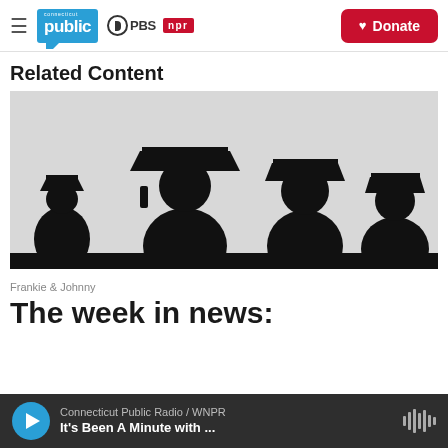Connecticut Public | PBS | NPR | Donate
Related Content
[Figure (photo): Silhouettes of graduates in caps and gowns against a light grey background, shown in profile]
Frankie & Johnny
The week in news:
Connecticut Public Radio / WNPR | It's Been A Minute with ...